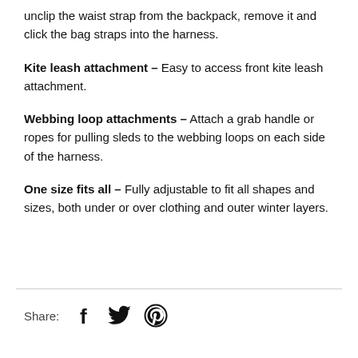unclip the waist strap from the backpack, remove it and click the bag straps into the harness.
Kite leash attachment – Easy to access front kite leash attachment.
Webbing loop attachments – Attach a grab handle or ropes for pulling sleds to the webbing loops on each side of the harness.
One size fits all – Fully adjustable to fit all shapes and sizes, both under or over clothing and outer winter layers.
Share:
[Figure (illustration): Social media share icons: Facebook (f), Twitter (bird), Pinterest (P circle)]
You may also like